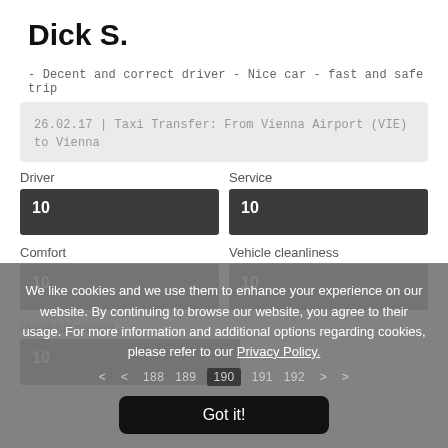Dick S.
- Decent and correct driver - Nice car - fast and safe trip
26.02.17 | Taxi Transfer: From Vienna Airport (VIE) to Vienna
| Category | Score |
| --- | --- |
| Driver | 10 |
| Service | 10 |
| Comfort | 10 |
| Vehicle cleanliness | 10 |
| Value for money | 10 |
We like cookies and we use them to enhance your experience on our website. By continuing to browse our website, you agree to their usage. For more information and additional options regarding cookies, please refer to our Privacy Policy.
Got it!